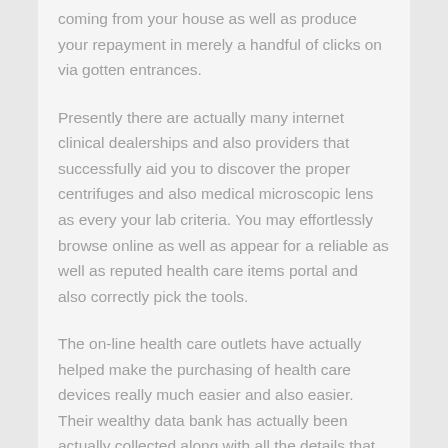coming from your house as well as produce your repayment in merely a handful of clicks on via gotten entrances.
Presently there are actually many internet clinical dealerships and also providers that successfully aid you to discover the proper centrifuges and also medical microscopic lens as every your lab criteria. You may effortlessly browse online as well as appear for a reliable as well as reputed health care items portal and also correctly pick the tools.
The on-line health care outlets have actually helped make the purchasing of health care devices really much easier and also easier. Their wealthy data bank has actually been actually collected along with all the details that you need to have to possess prior to getting health care product and services. It likewise significantly